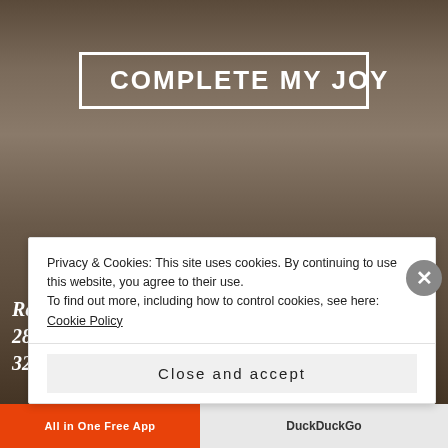[Figure (photo): Background photo of a man's face, blurred/muted tones of brown and grey]
COMPLETE MY JOY
Readings for September 27, 2020 Ezekie 18:25-28Psalm 25:4-9Philippians 2:1-11Matthew 21:28-32
Privacy & Cookies: This site uses cookies. By continuing to use this website, you agree to their use.
To find out more, including how to control cookies, see here: Cookie Policy
Close and accept